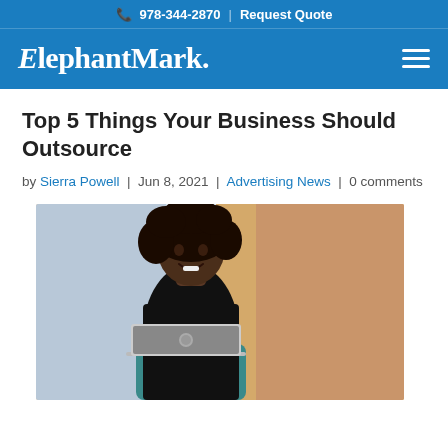📞 978-344-2870 | Request Quote
[Figure (logo): ElephantMark logo in white text on blue background with hamburger menu icon]
Top 5 Things Your Business Should Outsource
by Sierra Powell | Jun 8, 2021 | Advertising News | 0 comments
[Figure (photo): A Black woman with curly hair wearing a black turtleneck, smiling while working on a MacBook laptop, seated in a teal chair against a light orange/beige background]